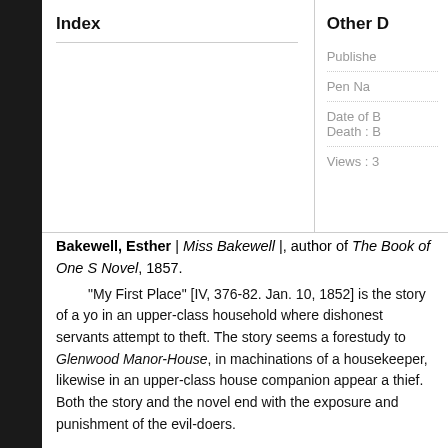Index
Other D
Publishe
Pen Na
Date of Birth / Death : B
Views : 3
Bakewell, Esther | Miss Bakewell |, author of The Book of One S Novel, 1857.
"My First Place" [IV, 376-82. Jan. 10, 1852] is the story of a yo in an upper-class household where dishonest servants attempt to theft. The story seems a forestudy to Glenwood Manor-House, in machinations of a housekeeper, likewise in an upper-class house companion appear a thief. Both the story and the novel end with the exposure and punishment of the evil-doers.